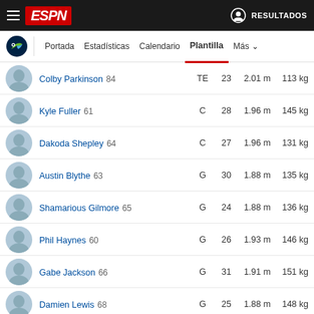ESPN - RESULTADOS
Portada | Estadísticas | Calendario | Plantilla | Más
| Jugador | Pos. | Edad | Altura | Peso |
| --- | --- | --- | --- | --- |
| Colby Parkinson 84 | TE | 23 | 2.01 m | 113 kg |
| Kyle Fuller 61 | C | 28 | 1.96 m | 145 kg |
| Dakoda Shepley 64 | C | 27 | 1.96 m | 131 kg |
| Austin Blythe 63 | G | 30 | 1.88 m | 135 kg |
| Shamarious Gilmore 65 | G | 24 | 1.88 m | 136 kg |
| Phil Haynes 60 | G | 26 | 1.93 m | 146 kg |
| Gabe Jackson 66 | G | 31 | 1.91 m | 151 kg |
| Damien Lewis 68 | G | 25 | 1.88 m | 148 kg |
| Charles Cross 67 | OT | 21 | 1.96 m | 141 kg |